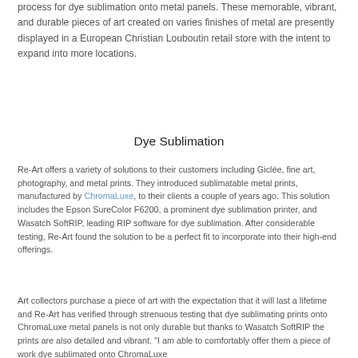process for dye sublimation onto metal panels. These memorable, vibrant, and durable pieces of art created on varies finishes of metal are presently displayed in a European Christian Louboutin retail store with the intent to expand into more locations.
Dye Sublimation
Re-Art offers a variety of solutions to their customers including Giclée, fine art, photography, and metal prints. They introduced sublimatable metal prints, manufactured by ChromaLuxe, to their clients a couple of years ago. This solution includes the Epson SureColor F6200, a prominent dye sublimation printer, and Wasatch SoftRIP, leading RIP software for dye sublimation. After considerable testing, Re-Art found the solution to be a perfect fit to incorporate into their high-end offerings.
Art collectors purchase a piece of art with the expectation that it will last a lifetime and Re-Art has verified through strenuous testing that dye sublimating prints onto ChromaLuxe metal panels is not only durable but thanks to Wasatch SoftRIP the prints are also detailed and vibrant. "I am able to comfortably offer them a piece of work dye sublimated onto ChromaLuxe